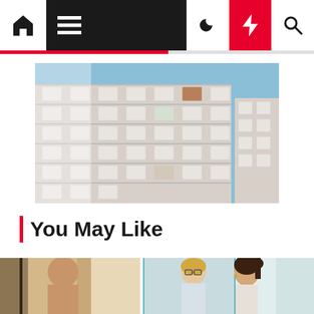Navigation bar with home, menu, night mode, flash, and search icons
[Figure (photo): Low-angle view of a modern white multi-story building facade with geometric balcony panels and blue sky in background]
You May Like
[Figure (photo): Partial view of a person in a warm-toned interior setting]
[Figure (photo): Two women having a conversation in a bright office or glass-walled space]